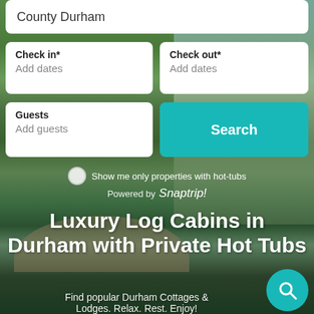[Figure (screenshot): Travel booking website screenshot showing a search form for log cabins in County Durham with private hot tubs, overlaid on a scenic photo of Durham with a castle, river, and stone bridge surrounded by green trees.]
County Durham
Check in* Add dates
Check out* Add dates
Guests Add guests
Search
Show me only properties with hot-tubs
Powered by Snaptrip!
Luxury Log Cabins in Durham with Private Hot Tubs
Find popular Durham Cottages & Lodges. Relax. Rest. Enjoy!